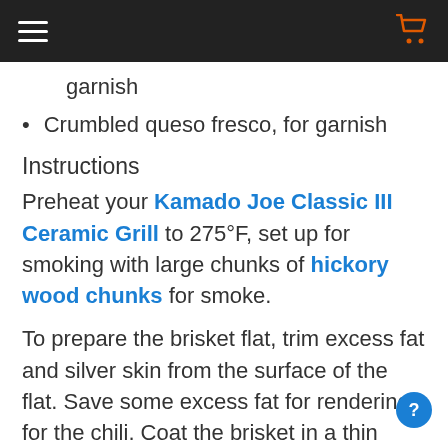[navigation bar with hamburger menu and cart icon]
garnish
Crumbled queso fresco, for garnish
Instructions
Preheat your Kamado Joe Classic III Ceramic Grill to 275°F, set up for smoking with large chunks of hickory wood chunks for smoke.
To prepare the brisket flat, trim excess fat and silver skin from the surface of the flat. Save some excess fat for rendering for the chili. Coat the brisket in a thin